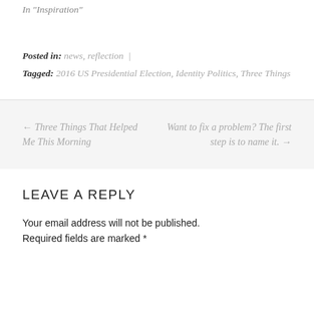In "Inspiration"
Posted in: news, reflection  |
Tagged: 2016 US Presidential Election, Identity Politics, Three Things
← Three Things That Helped Me This Morning
Want to fix a problem? The first step is to name it. →
LEAVE A REPLY
Your email address will not be published. Required fields are marked *